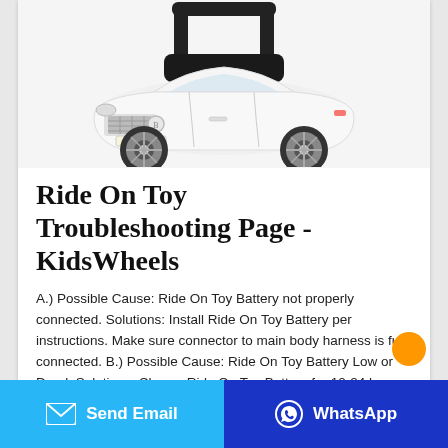[Figure (photo): White Bentley-style children's ride-on toy car with black seat and chrome wheels, photographed on white background]
Ride On Toy Troubleshooting Page - KidsWheels
A.) Possible Cause: Ride On Toy Battery not properly connected. Solutions: Install Ride On Toy Battery per instructions. Make sure connector to main body harness is fully connected. B.) Possible Cause: Ride On Toy Battery Low or Dead. Solutions: Charge Ride On Toy Battery for 10-24 hours (full...
Send Email | WhatsApp